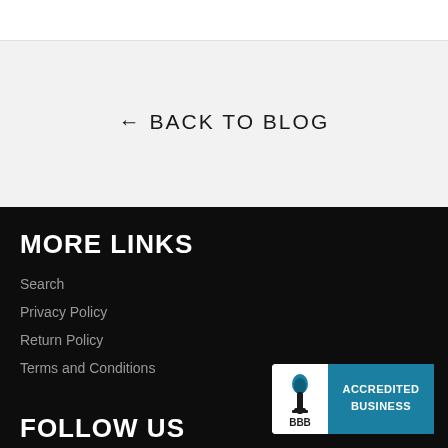← BACK TO BLOG
MORE LINKS
Search
Privacy Policy
Return Policy
Terms and Conditions
[Figure (logo): BBB Accredited Business badge]
FOLLOW US